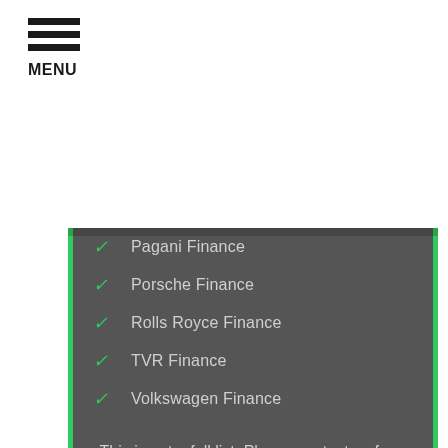MENU
Pagani Finance
Porsche Finance
Rolls Royce Finance
TVR Finance
Volkswagen Finance
This is not a full list. Please contact us for a free no obligation quote or to see if we can arrange finance for you.
REQUEST A CALLBACK